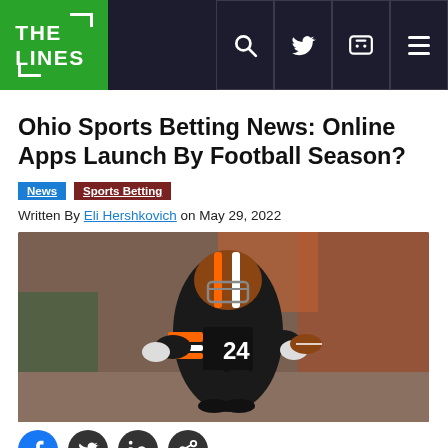THE LINES — navigation bar with logo and icons
Ohio Sports Betting News: Online Apps Launch By Football Season?
News  Sports Betting
Written By Eli Hershkovich on May 29, 2022
[Figure (photo): Cleveland Browns running back wearing number 24, in brown and orange uniform with helmet, carrying football during a game with crowd in background]
[Figure (infographic): Social media share icons row: Facebook, Twitter, LinkedIn, and another icon]